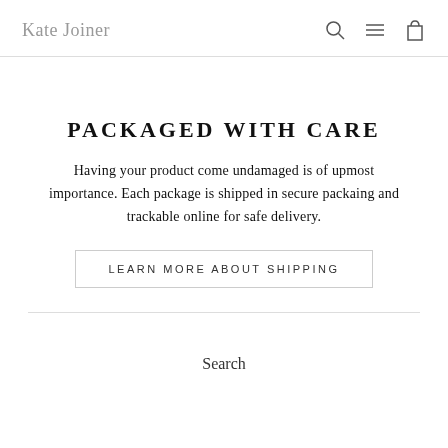Kate Joiner
PACKAGED WITH CARE
Having your product come undamaged is of upmost importance. Each package is shipped in secure packaing and trackable online for safe delivery.
LEARN MORE ABOUT SHIPPING
Search